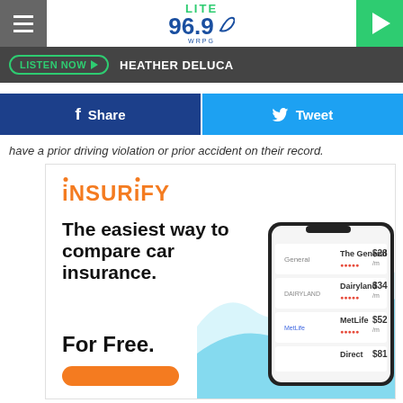LITE 96.9 WRPG
LISTEN NOW ▶ HEATHER DELUCA
[Figure (screenshot): Facebook Share button and Twitter Tweet button row]
have a prior driving violation or prior accident on their record.
[Figure (infographic): Insurify advertisement: The easiest way to compare car insurance. For Free. Shows phone mockup with insurance quotes: The General $28/m, Dairyland $34/m, MetLife $52/m, Direct $81]